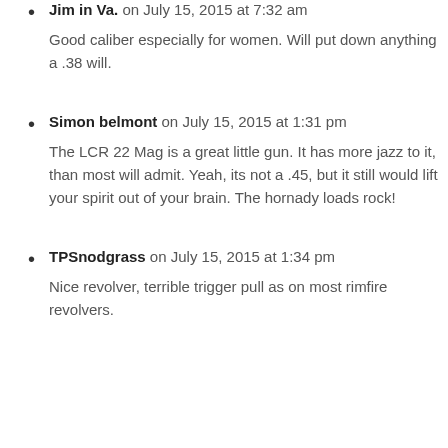Jim in Va. on July 15, 2015 at 7:32 am
Good caliber especially for women. Will put down anything a .38 will.
Simon belmont on July 15, 2015 at 1:31 pm
The LCR 22 Mag is a great little gun. It has more jazz to it, than most will admit. Yeah, its not a .45, but it still would lift your spirit out of your brain. The hornady loads rock!
TPSnodgrass on July 15, 2015 at 1:34 pm
Nice revolver, terrible trigger pull as on most rimfire revolvers.